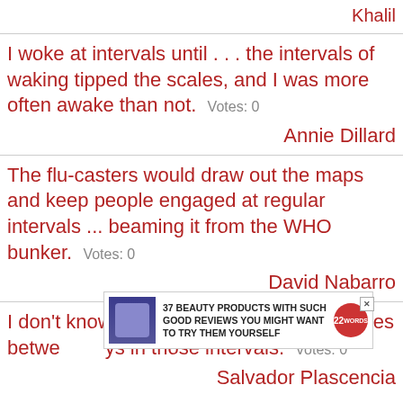Khalil
I woke at intervals until . . . the intervals of waking tipped the scales, and I was more often awake than not. Votes: 0
Annie Dillard
The flu-casters would draw out the maps and keep people engaged at regular intervals ... beaming it from the WHO bunker. Votes: 0
David Nabarro
I don't know what they are called, the spaces between days ... the pauses, the stays in those intervals. Votes: 0
Salvador Plascencia
[Figure (screenshot): Ad overlay: 37 BEAUTY PRODUCTS WITH SUCH GOOD REVIEWS YOU MIGHT WANT TO TRY THEM YOURSELF, with CLOSE button and 22 Words badge]